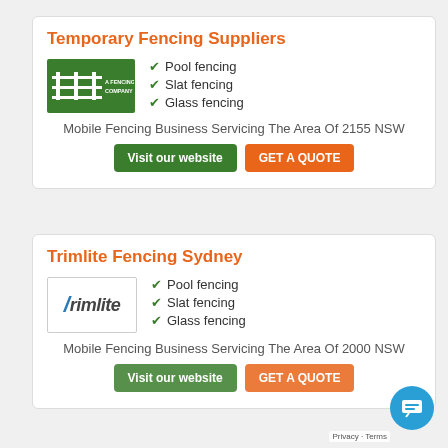Temporary Fencing Suppliers
[Figure (logo): Green background logo with white fence icon and text 'A FENCING COMPANY']
Pool fencing
Slat fencing
Glass fencing
Mobile Fencing Business Servicing The Area Of 2155 NSW
Visit our website | GET A QUOTE
Trimlite Fencing Sydney
[Figure (logo): Trimlite logo in italic with slash mark]
Pool fencing
Slat fencing
Glass fencing
Mobile Fencing Business Servicing The Area Of 2000 NSW